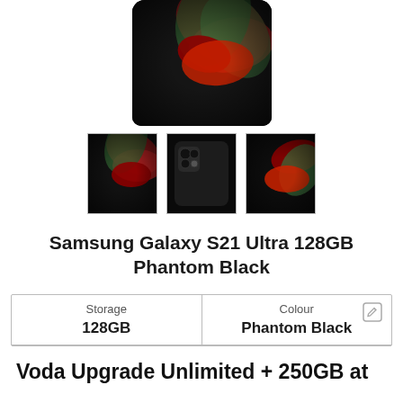[Figure (photo): Samsung Galaxy S21 Ultra in Phantom Black - main product image showing front/back with decorative flower graphic]
[Figure (photo): Three thumbnail images of Samsung Galaxy S21 Ultra 128GB Phantom Black from different angles]
Samsung Galaxy S21 Ultra 128GB Phantom Black
| Storage | Colour |
| --- | --- |
| 128GB | Phantom Black |
Voda Upgrade Unlimited + 250GB at